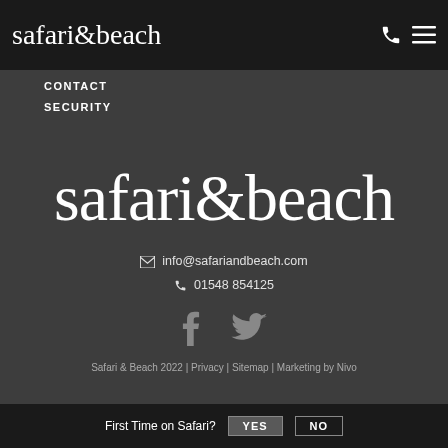safari&beach
CONTACT
SECURITY
safari&beach
info@safariandbeach.com
01548 854125
[Figure (logo): Facebook and Twitter social media icons]
Safari & Beach 2022 | Privacy | Sitemap | Marketing by Nivo
First Time on Safari? YES NO